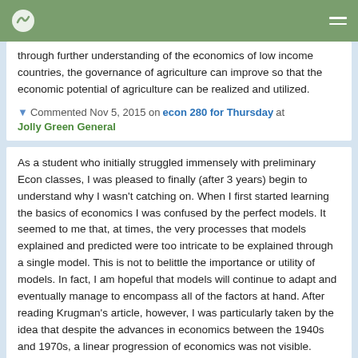through further understanding of the economics of low income countries, the governance of agriculture can improve so that the economic potential of agriculture can be realized and utilized.
▼ Commented Nov 5, 2015 on econ 280 for Thursday at Jolly Green General
As a student who initially struggled immensely with preliminary Econ classes, I was pleased to finally (after 3 years) begin to understand why I wasn't catching on. When I first started learning the basics of economics I was confused by the perfect models. It seemed to me that, at times, the very processes that models explained and predicted were too intricate to be explained through a single model. This is not to belittle the importance or utility of models. In fact, I am hopeful that models will continue to adapt and eventually manage to encompass all of the factors at hand. After reading Krugman's article, however, I was particularly taken by the idea that despite the advances in economics between the 1940s and 1970s, a linear progression of economics was not visible. Krugman states that, "A rise in the standards of rigor and logic led to a much improved level of understanding of some things,